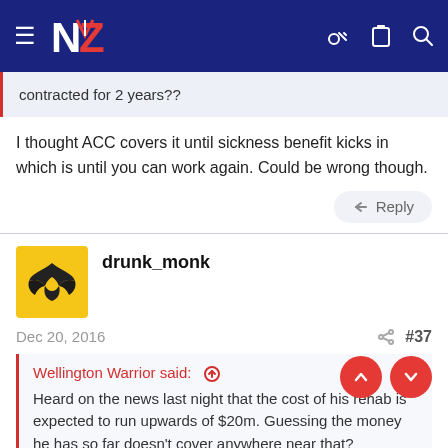[Figure (screenshot): Navigation bar with hamburger menu, NZ Warriors logo, key icon, clipboard icon, and search icon on dark navy background]
contracted for 2 years??
I thought ACC covers it until sickness benefit kicks in which is until you can work again. Could be wrong though.
Reply
drunk_monk
Dec 20, 2016
#37
Wellington Warrior said:
Heard on the news last night that the cost of his rehab is expected to run upwards of $20m. Guessing the money he has so far doesn't cover anywhere near that?